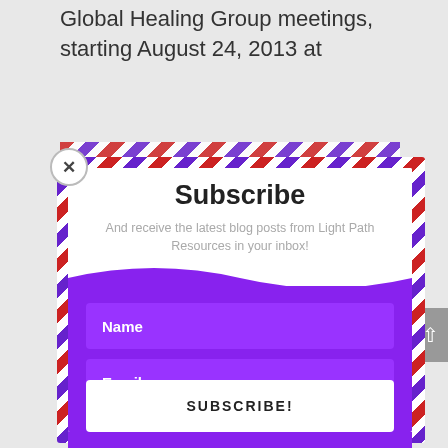Global Healing Group meetings, starting August 24, 2013 at
[Figure (screenshot): Subscribe modal popup with airmail-style striped border, close button (x), title 'Subscribe', subtitle 'And receive the latest blog posts from Light Path Resources in your inbox!', purple background with Name input field, Email input field, and SUBSCRIBE! button]
Name
Email
SUBSCRIBE!